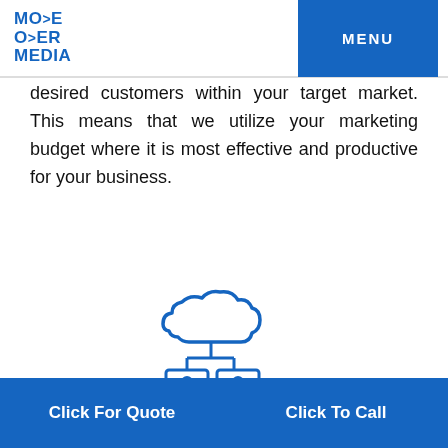[Figure (logo): Move Over Media logo with stylized text]
MENU
desired customers within your target market. This means that we utilize your marketing budget where it is most effective and productive for your business.
[Figure (illustration): Cloud connected to two computer monitors with user icons, above a factory building with smokestack, outlined in blue and gray]
Click For Quote
Click To Call